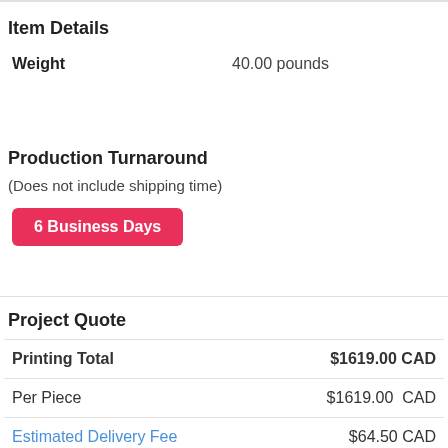Item Details
Weight    40.00 pounds
Production Turnaround
(Does not include shipping time)
6 Business Days
Project Quote
|  |  |
| --- | --- |
| Printing Total | $1619.00 CAD |
| Per Piece | $1619.00  CAD |
| Estimated Delivery Fee | $64.50 CAD |